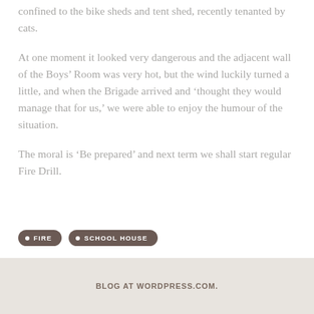confined to the bike sheds and tent shed, recently tenanted by cats.
At one moment it looked very dangerous and the adjacent wall of the Boys’ Room was very hot, but the wind luckily turned a little, and when the Brigade arrived and ‘thought they would manage that for us,’ we were able to enjoy the humour of the situation.
The moral is ‘Be prepared’ and next term we shall start regular Fire Drill.
FIRE
SCHOOL HOUSE
BLOG AT WORDPRESS.COM.